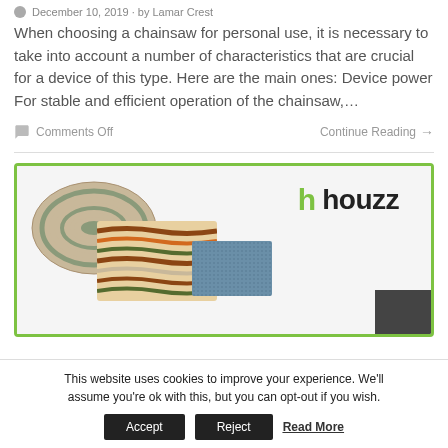December 10, 2019 · by Lamar Crest
When choosing a chainsaw for personal use, it is necessary to take into account a number of characteristics that are crucial for a device of this type. Here are the main ones: Device power For stable and efficient operation of the chainsaw,…
Comments Off      Continue Reading →
[Figure (photo): Houzz advertisement banner showing decorative rugs and the Houzz logo with green 'h' icon]
This website uses cookies to improve your experience. We'll assume you're ok with this, but you can opt-out if you wish. Accept Reject Read More